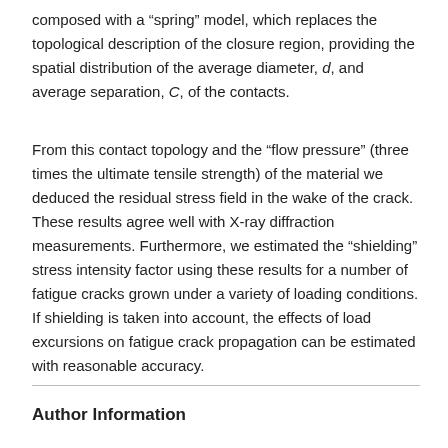composed with a “spring” model, which replaces the topological description of the closure region, providing the spatial distribution of the average diameter, d, and average separation, C, of the contacts.
From this contact topology and the “flow pressure” (three times the ultimate tensile strength) of the material we deduced the residual stress field in the wake of the crack. These results agree well with X-ray diffraction measurements. Furthermore, we estimated the “shielding” stress intensity factor using these results for a number of fatigue cracks grown under a variety of loading conditions. If shielding is taken into account, the effects of load excursions on fatigue crack propagation can be estimated with reasonable accuracy.
Author Information